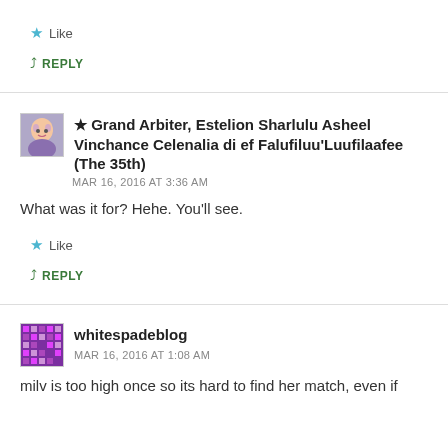Like
↳ REPLY
★ Grand Arbiter, Estelion Sharlulu Asheel Vinchance Celenalia di ef Falufiluu'Luufilaafee (The 35th)
MAR 16, 2016 AT 3:36 AM
What was it for? Hehe. You'll see.
Like
↳ REPLY
whitespadeblog
MAR 16, 2016 AT 1:08 AM
milv is too high once so its hard to find her match, even if